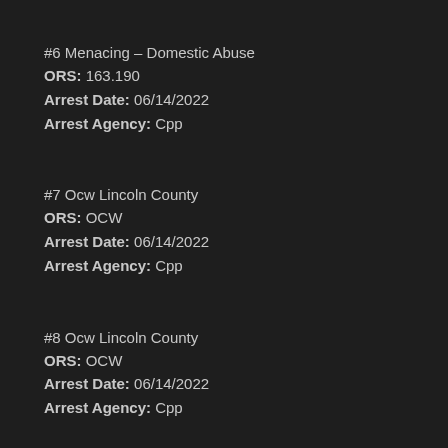#6 Menacing – Domestic Abuse
ORS: 163.190
Arrest Date: 06/14/2022
Arrest Agency: Cpp
#7 Ocw Lincoln County
ORS: OCW
Arrest Date: 06/14/2022
Arrest Agency: Cpp
#8 Ocw Lincoln County
ORS: OCW
Arrest Date: 06/14/2022
Arrest Agency: Cpp
#9 Ocw Linn County
ORS: OCW
Arrest Date: 06/14/2022